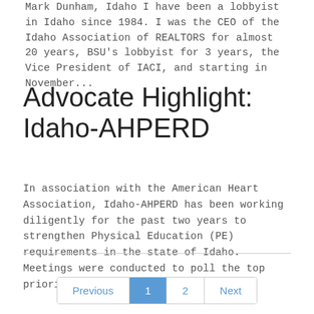Mark Dunham, Idaho I have been a lobbyist in Idaho since 1984. I was the CEO of the Idaho Association of REALTORS for almost 20 years, BSU's lobbyist for 3 years, the Vice President of IACI, and starting in November...
Advocate Highlight: Idaho-AHPERD
In association with the American Heart Association, Idaho-AHPERD has been working diligently for the past two years to strengthen Physical Education (PE) requirements in the state of Idaho. Meetings were conducted to poll the top priorities for PE requirements and...
Previous  1  2  Next